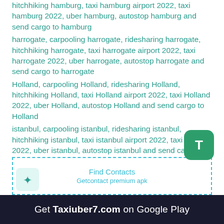hitchhiking hamburg, taxi hamburg airport 2022, taxi hamburg 2022, uber hamburg, autostop hamburg and send cargo to hamburg
harrogate, carpooling harrogate, ridesharing harrogate, hitchhiking harrogate, taxi harrogate airport 2022, taxi harrogate 2022, uber harrogate, autostop harrogate and send cargo to harrogate
Holland, carpooling Holland, ridesharing Holland, hitchhiking Holland, taxi Holland airport 2022, taxi Holland 2022, uber Holland, autostop Holland and send cargo to Holland
istanbul, carpooling istanbul, ridesharing istanbul, hitchhiking istanbul, taxi istanbul airport 2022, taxi istanbul 2022, uber istanbul, autostop istanbul and send cargo to istanbul
iasi, carpooling iasi, ridesharing iasi, hitchhiking iasi, taxi iasi airport 2022, taxi iasi 2022, uber iasi, autostop iasi and send cargo to iasi
ipswich, carpooling ipswich, ridesharing ipswich, hitchhiking ipswich, taxi ipswich airport 2022, taxi ipswich 2022, uber ipswich, autostop ipswich and send cargo to ipswich
[Figure (other): Dashed border box containing 'Find Contacts' and 'Getcontact premium apk' text in teal, with a logo icon on the left side]
Get Taxiuber7.com on Google Play